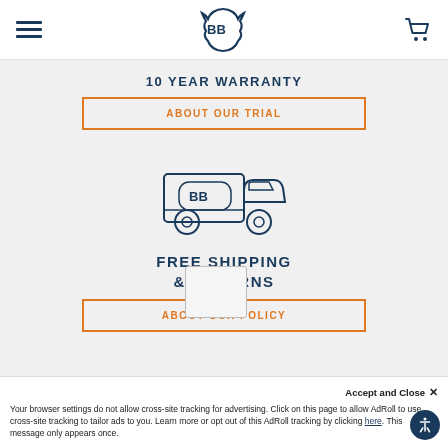[Figure (logo): BB logo in navy shield-like shape in the center nav, hamburger menu left, shopping cart right]
10 YEAR WARRANTY
ABOUT OUR TRIAL
[Figure (illustration): Delivery truck with BB logo on the side, drawn in navy/dark blue outline style]
FREE SHIPPING & RETURNS
ABOUT OUR POLICY
Accept and Close ×
Your browser settings do not allow cross-site tracking for advertising. Click on this page to allow AdRoll to use cross-site tracking to tailor ads to you. Learn more or opt out of this AdRoll tracking by clicking here. This message only appears once.